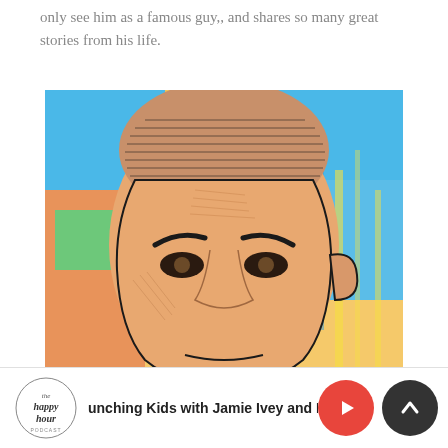only see him as a famous guy,, and shares so many great stories from his life.
[Figure (illustration): Colorful pop-art style illustration of a man's face with yellow, blue, and orange background with cross-hatching style linework]
unching Kids with Jamie Ivey and Li